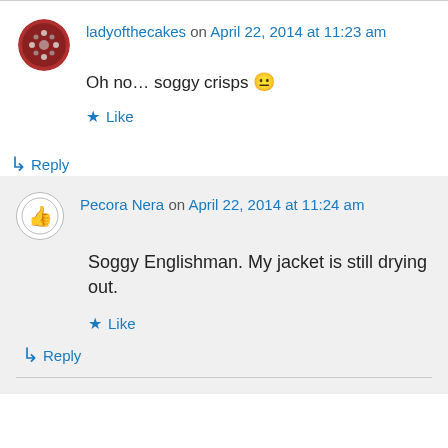ladyofthecakes on April 22, 2014 at 11:23 am
Oh no... soggy crisps 😐
Like
Reply
Pecora Nera on April 22, 2014 at 11:24 am
Soggy Englishman. My jacket is still drying out.
Like
Reply